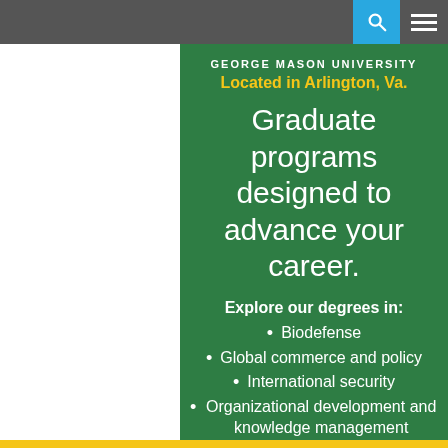[Figure (screenshot): George Mason University advertisement banner with green background showing graduate programs located in Arlington, Va.]
GEORGE MASON UNIVERSITY
Located in Arlington, Va.
Graduate programs designed to advance your career.
Explore our degrees in:
Biodefense
Global commerce and policy
International security
Organizational development and knowledge management
Political science
Public policy
Public administration